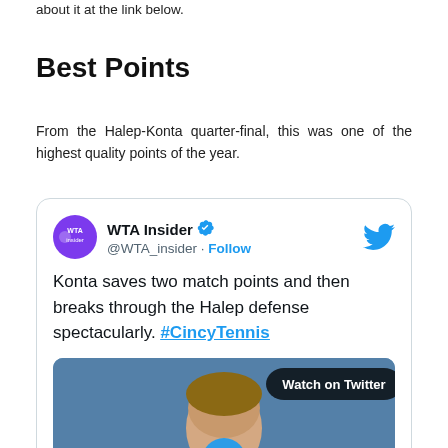about it at the link below.
Best Points
From the Halep-Konta quarter-final, this was one of the highest quality points of the year.
[Figure (screenshot): Embedded tweet from @WTA_insider reading: 'Konta saves two match points and then breaks through the Halep defense spectacularly. #CincyTennis' with a video thumbnail showing a tennis player's face and a 'Watch on Twitter' button.]